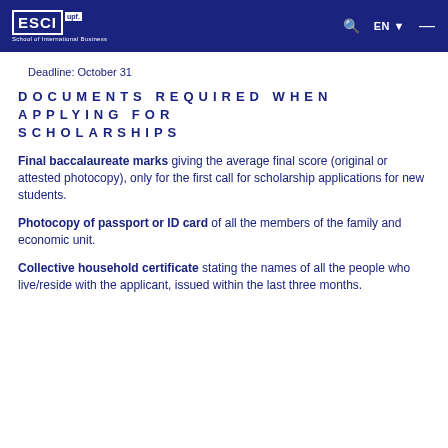ESCI upf School of International Business | EN | search | menu
Deadline: October 31
DOCUMENTS REQUIRED WHEN APPLYING FOR SCHOLARSHIPS
Final baccalaureate marks giving the average final score (original or attested photocopy), only for the first call for scholarship applications for new students.
Photocopy of passport or ID card of all the members of the family and economic unit.
Collective household certificate stating the names of all the people who live/reside with the applicant, issued within the last three months.